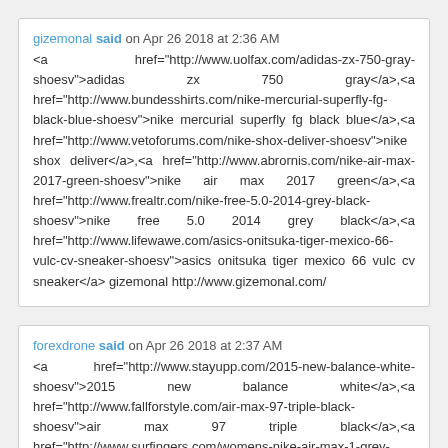gizemonal said on Apr 26 2018 at 2:36 AM
<a href="http://www.uolfax.com/adidas-zx-750-gray-shoesv">adidas zx 750 gray</a>,<a href="http://www.bundesshirts.com/nike-mercurial-superfly-fg-black-blue-shoesv">nike mercurial superfly fg black blue</a>,<a href="http://www.vetoforums.com/nike-shox-deliver-shoesv">nike shox deliver</a>,<a href="http://www.abrornis.com/nike-air-max-2017-green-shoesv">nike air max 2017 green</a>,<a href="http://www.frealtr.com/nike-free-5.0-2014-grey-black-shoesv">nike free 5.0 2014 grey black</a>,<a href="http://www.lifewawe.com/asics-onitsuka-tiger-mexico-66-vulc-cv-sneaker-shoesv">asics onitsuka tiger mexico 66 vulc cv sneaker</a> gizemonal http://www.gizemonal.com/
forexdrone said on Apr 26 2018 at 2:37 AM
<a href="http://www.stayupp.com/2015-new-balance-white-shoesv">2015 new balance white</a>,<a href="http://www.fallforstyle.com/air-max-97-triple-black-shoesv">air max 97 triple black</a>,<a href="http://www.surfingers.com/womens-nike-air-max-1-grey-orange-shoesv">womens nike air max 1 grey orange</a>,<a href="http://www.payforfood.com/asics-onitsuka-tiger-mexico-66-verde-púrpura-shoesv">asics onitsuka tiger mexico 66 verde púrpura</a>,<a href="http://www.greatnoeshop.com/nike-lunar...